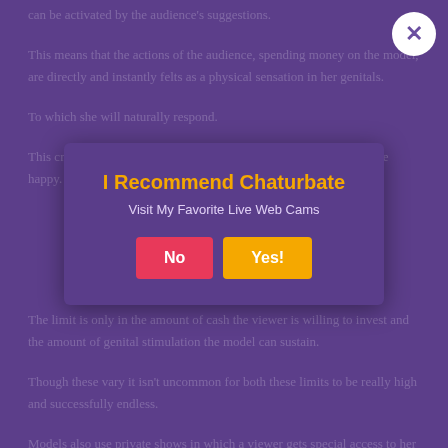can be activated by the audience's suggestions.
This means that the actions of the audience, spending money on the model, are directly and instantly felts as a physical sensation in her genitals.
To which she will naturally respond.
This creates a feedback loop in which both models and customers are happy.
[Figure (other): Modal popup overlay with title 'I Recommend Chaturbate', subtitle 'Visit My Favorite Live Web Cams', and two buttons: 'No' (pink) and 'Yes!' (orange). A white circular close button with an X is in the top right corner.]
The limit is only in the amount of cash the viewer is willing to invest and the amount of genital stimulation the model can sustain.
Though these vary it isn't uncommon for both these limits to be really high and successfully endless.
Models also use private shows in which a viewer gets special access to her for the duration of the program, and as there is a